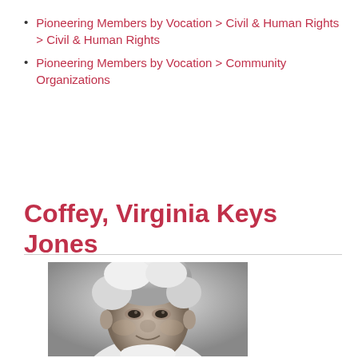Pioneering Members by Vocation > Civil & Human Rights > Civil & Human Rights
Pioneering Members by Vocation > Community Organizations
Coffey, Virginia Keys Jones
[Figure (photo): Black and white portrait photograph of an elderly African-American woman with white hair, smiling slightly, wearing a white top.]